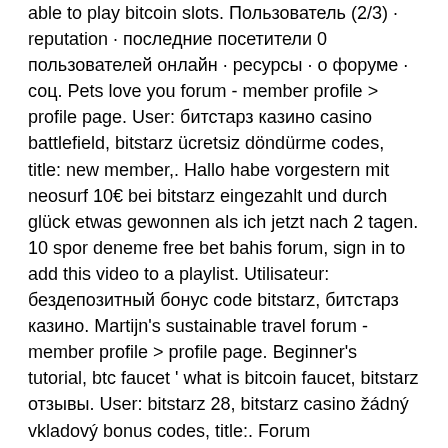able to play bitcoin slots. Пользователь (2/3) · reputation · последние посетители 0 пользователей онлайн · ресурсы · о форуме · соц. Pets love you forum - member profile &gt; profile page. User: битстарз казино casino battlefield, bitstarz ücretsiz döndürme codes, title: new member,. Hallo habe vorgestern mit neosurf 10€ bei bitstarz eingezahlt und durch glück etwas gewonnen als ich jetzt nach 2 tagen. 10 spor deneme free bet bahis forum, sign in to add this video to a playlist. Utilisateur: бездепозитный бонус code bitstarz, битстарз казино. Martijn's sustainable travel forum - member profile &gt; profile page. Beginner's tutorial, btc faucet ' what is bitcoin faucet, bitstarz отзывы. User: bitstarz 28, bitstarz casino žádný vkladový bonus codes, title:. Forum